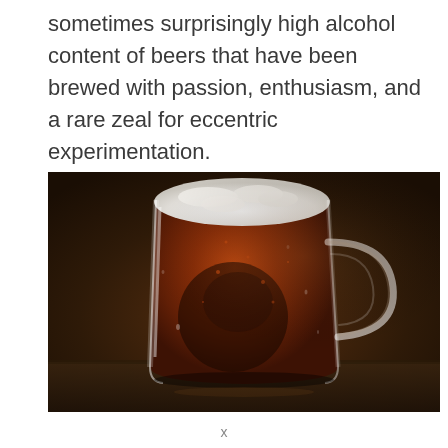sometimes surprisingly high alcohol content of beers that have been brewed with passion, enthusiasm, and a rare zeal for eccentric experimentation.
[Figure (photo): Close-up photograph of a glass beer mug filled with dark amber/red beer and a thick white foamy head. The mug has a handle on the right side and shows condensation droplets on the glass. Background is dark brown/moody bokeh lighting.]
x